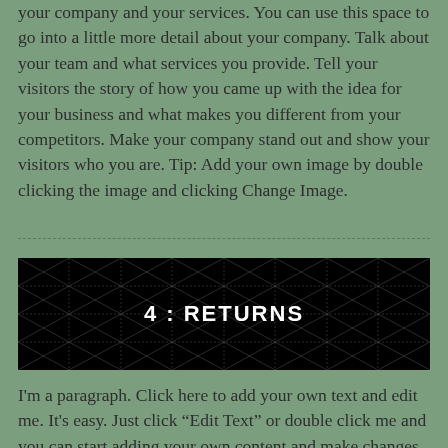your company and your services. You can use this space to go into a little more detail about your company. Talk about your team and what services you provide. Tell your visitors the story of how you came up with the idea for your business and what makes you different from your competitors. Make your company stand out and show your visitors who you are. Tip: Add your own image by double clicking the image and clicking Change Image.
[Figure (other): Black banner image with decorative X/asterisk grid pattern and centered bold white text reading '4 : RETURNS']
I'm a paragraph. Click here to add your own text and edit me. It's easy. Just click "Edit Text" or double click me and you can start adding your own content and make changes to the font. Feel free to drag and drop me anywhere you like on your page. I'm a great place for you to tell a story and let your users know a little more about you.